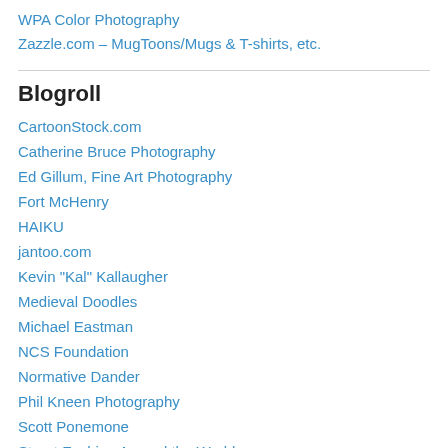WPA Color Photography
Zazzle.com – MugToons/Mugs & T-shirts, etc.
Blogroll
CartoonStock.com
Catherine Bruce Photography
Ed Gillum, Fine Art Photography
Fort McHenry
HAIKU
jantoo.com
Kevin "Kal" Kallaugher
Medieval Doodles
Michael Eastman
NCS Foundation
Normative Dander
Phil Kneen Photography
Scott Ponemone
Street Fashion Around the World